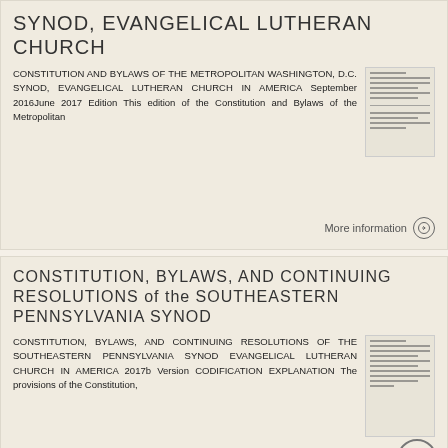SYNOD, EVANGELICAL LUTHERAN CHURCH
CONSTITUTION AND BYLAWS OF THE METROPOLITAN WASHINGTON, D.C. SYNOD, EVANGELICAL LUTHERAN CHURCH IN AMERICA September 2016June 2017 Edition This edition of the Constitution and Bylaws of the Metropolitan
CONSTITUTION, BYLAWS, AND CONTINUING RESOLUTIONS of the SOUTHEASTERN PENNSYLVANIA SYNOD
CONSTITUTION, BYLAWS, AND CONTINUING RESOLUTIONS of the SOUTHEASTERN PENNSYLVANIA SYNOD EVANGELICAL LUTHERAN CHURCH IN AMERICA 2017b Version CODIFICATION EXPLANATION The provisions of the Constitution,